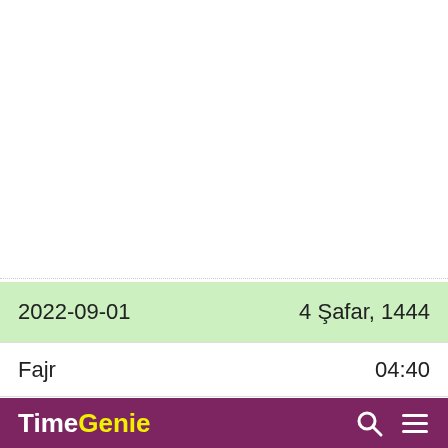2022-09-01
4 Şafar, 1444
Fajr
04:40
TimeGenie